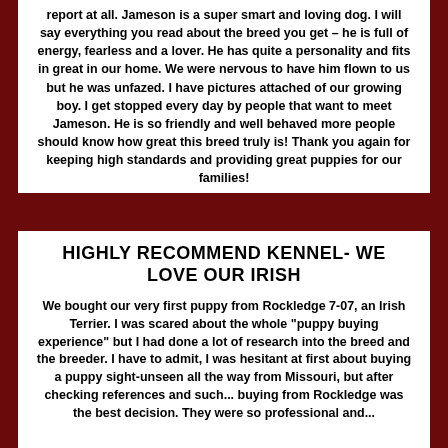report at all. Jameson is a super smart and loving dog. I will say everything you read about the breed you get – he is full of energy, fearless and a lover. He has quite a personality and fits in great in our home. We were nervous to have him flown to us but he was unfazed. I have pictures attached of our growing boy. I get stopped every day by people that want to meet Jameson. He is so friendly and well behaved more people should know how great this breed truly is! Thank you again for keeping high standards and providing great puppies for our families!
Anna M.
Linda Avery
Note; Jameson is sired by Chancer and out of Nutmeg by Elf.
HIGHLY RECOMMEND KENNEL- WE LOVE OUR IRISH
We bought our very first puppy from Rockledge 7-07, an Irish Terrier. I was scared about the whole "puppy buying experience" but I had done a lot of research into the breed and the breeder. I have to admit, I was hesitant at first about buying a puppy sight-unseen all the way from Missouri, but after checking references and such... buying from Rockledge was the best decision. They were so professional and...